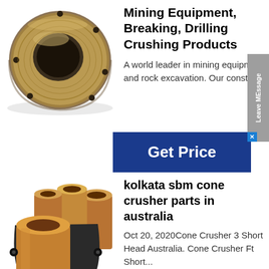[Figure (photo): A bronze/brass threaded ring or bushing component with holes, viewed from an angle showing the threaded interior and flat flange.]
Mining Equipment, Breaking, Drilling Crushing Products
A world leader in mining equipment and rock excavation. Our constan
Get Price
[Figure (photo): Multiple copper/bronze cylindrical crusher bushing parts grouped together, showing various sizes of cone crusher replacement parts.]
kolkata sbm cone crusher parts in australia
Oct 20, 2020Cone Crusher 3 Short Head Australia. Cone Crusher Ft Short...